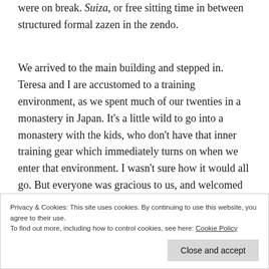were on break. Suiza, or free sitting time in between structured formal zazen in the zendo.
We arrived to the main building and stepped in. Teresa and I are accustomed to a training environment, as we spent much of our twenties in a monastery in Japan. It's a little wild to go into a monastery with the kids, who don't have that inner training gear which immediately turns on when we enter that environment. I wasn't sure how it would all go. But everyone was gracious to us, and welcomed us in all of our bright colors and rambunctious energy.
Privacy & Cookies: This site uses cookies. By continuing to use this website, you agree to their use.
To find out more, including how to control cookies, see here: Cookie Policy
Close and accept